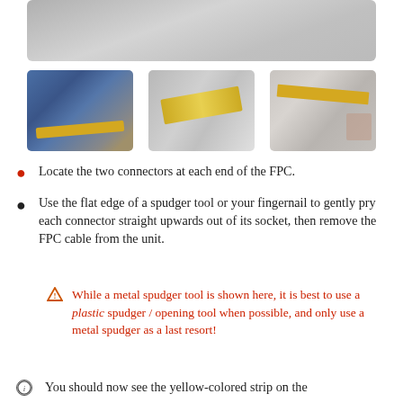[Figure (photo): Top portion of a device disassembly photo, showing a gray surface (partial view).]
[Figure (photo): Three thumbnail photos showing FPC cable and connectors on a circuit board / device frame during repair.]
Locate the two connectors at each end of the FPC.
Use the flat edge of a spudger tool or your fingernail to gently pry each connector straight upwards out of its socket, then remove the FPC cable from the unit.
While a metal spudger tool is shown here, it is best to use a plastic spudger / opening tool when possible, and only use a metal spudger as a last resort!
You should now see the yellow-colored strip on the